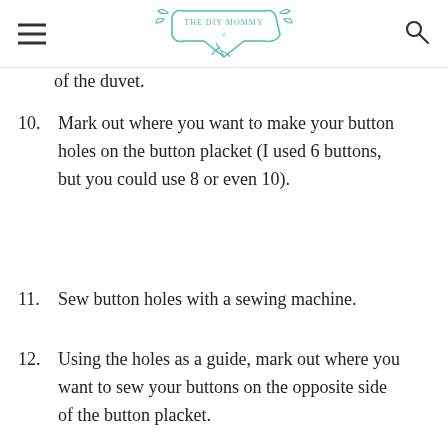THE DIY MOMMY
of the duvet.
10. Mark out where you want to make your button holes on the button placket (I used 6 buttons, but you could use 8 or even 10).
11. Sew button holes with a sewing machine.
12. Using the holes as a guide, mark out where you want to sew your buttons on the opposite side of the button placket.
13. Sew the buttons on